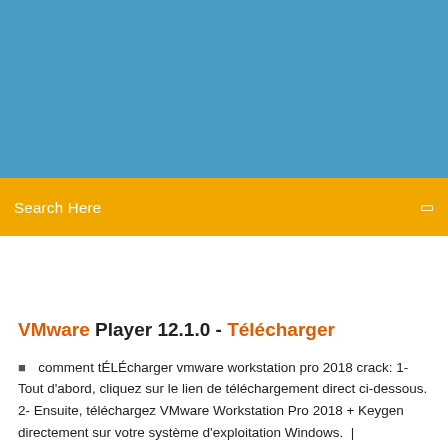[Figure (other): Blue header background area at the top of the page]
Search Here
VMware Player 12.1.0 - Télécharger
comment tÉLÉcharger vmware workstation pro 2018 crack: 1- Tout d'abord, cliquez sur le lien de téléchargement direct ci-dessous. 2- Ensuite, téléchargez VMware Workstation Pro 2018 + Keygen directement sur votre système d'exploitation Windows.  |